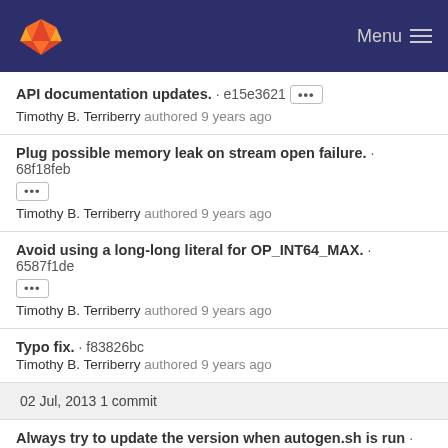Menu
API documentation updates. · e15e3621
Timothy B. Terriberry authored 9 years ago
Plug possible memory leak on stream open failure. · 68f18feb
Timothy B. Terriberry authored 9 years ago
Avoid using a long-long literal for OP_INT64_MAX. · 6587f1de
Timothy B. Terriberry authored 9 years ago
Typo fix. · f83826bc
Timothy B. Terriberry authored 9 years ago
02 Jul, 2013 1 commit
Always try to update the version when autogen.sh is run · 884aa610
Ron authored 9 years ago